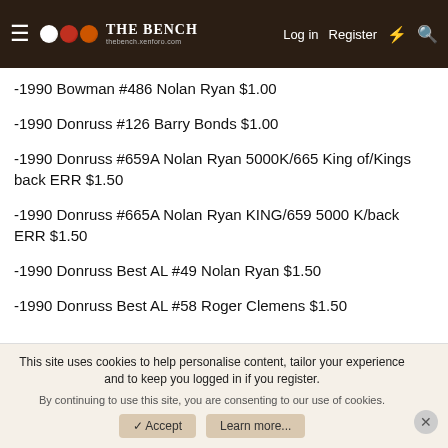The Bench — Navigation bar with Log in, Register links
-1990 Bowman #486 Nolan Ryan $1.00
-1990 Donruss #126 Barry Bonds $1.00
-1990 Donruss #659A Nolan Ryan 5000K/665 King of/Kings back ERR $1.50
-1990 Donruss #665A Nolan Ryan KING/659 5000 K/back ERR $1.50
-1990 Donruss Best AL #49 Nolan Ryan $1.50
-1990 Donruss Best AL #58 Roger Clemens $1.50
This site uses cookies to help personalise content, tailor your experience and to keep you logged in if you register. By continuing to use this site, you are consenting to our use of cookies.